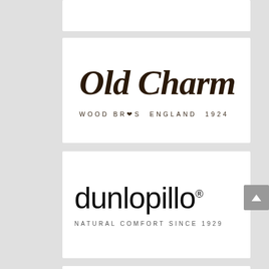[Figure (logo): Partial white card at top, cropped]
[Figure (logo): Old Charm logo — blackletter style text 'Old Charm' with subtitle 'WOOD BROS ENGLAND 1924']
[Figure (logo): Dunlopillo logo — modern thin sans-serif 'dunlopillo' with registered mark and subtitle 'NATURAL COMFORT SINCE 1929']
[Figure (logo): Partial white card at bottom, cropped]
[Figure (other): Grey scroll-up button with upward chevron arrow on the right side]